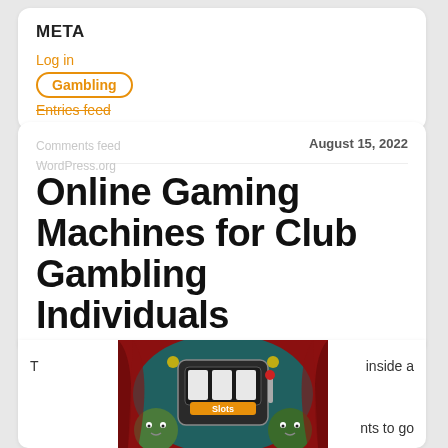META
Log in
Gambling
Entries feed
Comments feed
WordPress.org
August 15, 2022
Online Gaming Machines for Club Gambling Individuals
[Figure (illustration): Colorful slot machine illustration with 'Slots' text and cartoon zombie characters on a red/teal background]
T inside a
nts to go